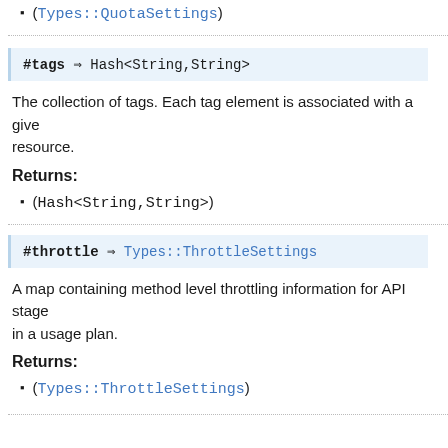(Types::QuotaSettings)
#tags ⇒ Hash<String,String>
The collection of tags. Each tag element is associated with a given resource.
Returns:
(Hash<String,String>)
#throttle ⇒ Types::ThrottleSettings
A map containing method level throttling information for API stage in a usage plan.
Returns:
(Types::ThrottleSettings)